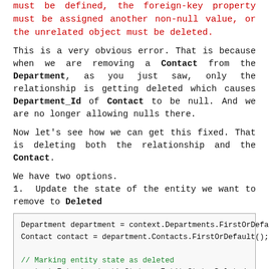must be defined, the foreign-key property must be assigned another non-null value, or the unrelated object must be deleted.
This is a very obvious error. That is because when we are removing a Contact from the Department, as you just saw, only the relationship is getting deleted which causes Department_Id of Contact to be null. And we are no longer allowing nulls there.
Now let’s see how we can get this fixed. That is deleting both the relationship and the Contact.
We have two options.
1. Update the state of the entity we want to remove to Deleted
[Figure (screenshot): Code block showing C# code: Department department = context.Departments.FirstOrDefault(); Contact contact = department.Contacts.FirstOrDefault(); // Marking entity state as deleted context.Entry(contact).State = EntityState.Deleted; context.SaveChanges();]